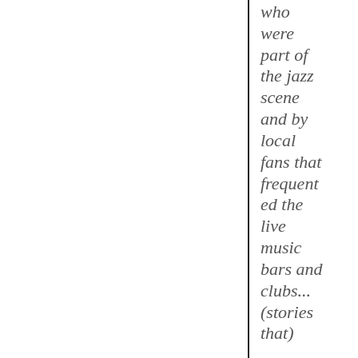who were part of the jazz scene and by local fans that frequented the live music bars and clubs... (stories that)